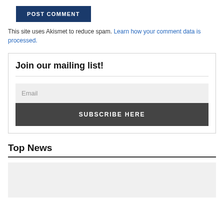POST COMMENT
This site uses Akismet to reduce spam. Learn how your comment data is processed.
Join our mailing list!
Email
SUBSCRIBE HERE
Top News
[Figure (photo): News image placeholder (light gray background)]